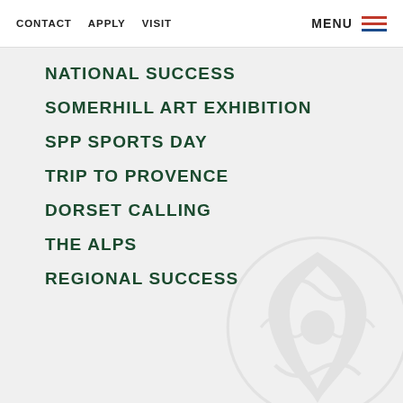CONTACT  APPLY  VISIT  MENU
NATIONAL SUCCESS
SOMERHILL ART EXHIBITION
SPP SPORTS DAY
TRIP TO PROVENCE
DORSET CALLING
THE ALPS
REGIONAL SUCCESS